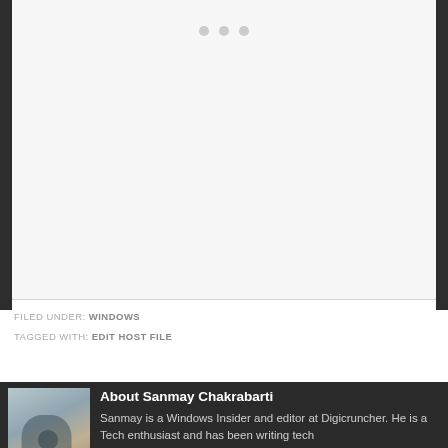[Figure (screenshot): A light gray placeholder/image area with three gray dots at the top center, representing a loading or carousel indicator]
FILED UNDER: WINDOWS
TAGGED WITH: EDIT HOST FILE
About Sanmay Chakrabarti
Sanmay is a Windows Insider and editor at Digicruncher. He is a Tech enthusiast and has been writing tech